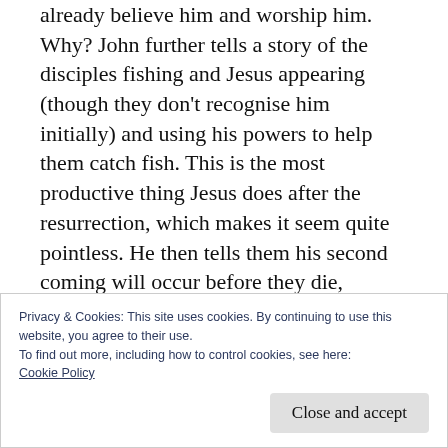already believe him and worship him. Why? John further tells a story of the disciples fishing and Jesus appearing (though they don't recognise him initially) and using his powers to help them catch fish. This is the most productive thing Jesus does after the resurrection, which makes it seem quite pointless. He then tells them his second coming will occur before they die, though no mention is made of the ascension. While this is
Privacy & Cookies: This site uses cookies. By continuing to use this website, you agree to their use.
To find out more, including how to control cookies, see here: Cookie Policy
Close and accept